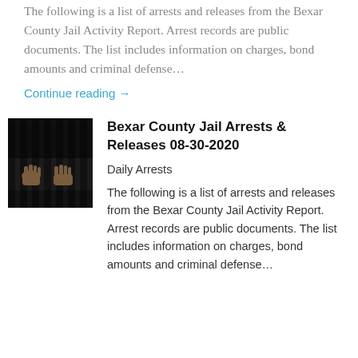The following is a list of arrests and releases from the Bexar County Jail Activity Report.  Arrest records are public documents.  The list includes information on charges, bond amounts and criminal defense…
Continue reading →
[Figure (photo): Hands gripping jail bars, dark background]
Bexar County Jail Arrests & Releases 08-30-2020
Daily Arrests
The following is a list of arrests and releases from the Bexar County Jail Activity Report.  Arrest records are public documents.  The list includes information on charges, bond amounts and criminal defense…